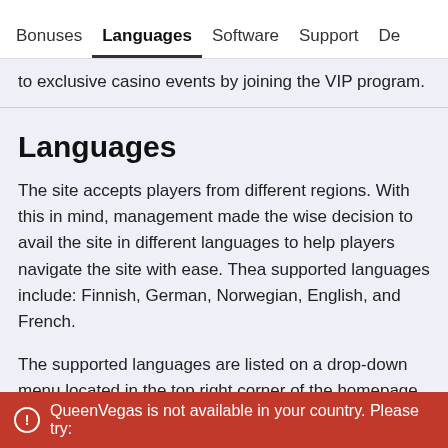Bonuses | Languages | Software | Support | De
to exclusive casino events by joining the VIP program.
Languages
The site accepts players from different regions. With this in mind, management made the wise decision to avail the site in different languages to help players navigate the site with ease. Thea supported languages include: Finnish, German, Norwegian, English, and French.
The supported languages are listed on a drop-down menu located in the top right corner of the homepage. Since English is the most used
QueenVegas is not available in your country. Please try: